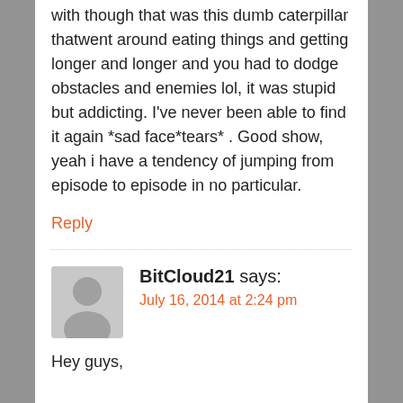with though that was this dumb caterpillar thatwent around eating things and getting longer and longer and you had to dodge obstacles and enemies lol, it was stupid but addicting. I've never been able to find it again *sad face*tears* . Good show, yeah i have a tendency of jumping from episode to episode in no particular.
Reply
[Figure (illustration): Generic user avatar icon showing a person silhouette on grey background]
BitCloud21 says:
July 16, 2014 at 2:24 pm
Hey guys,